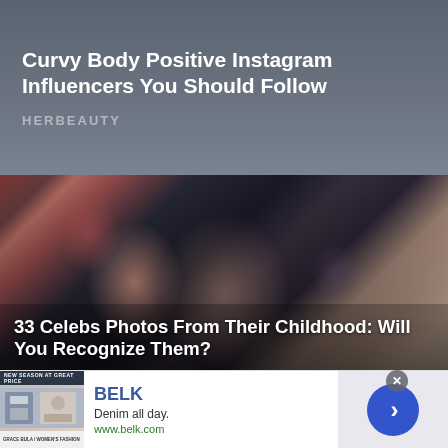Curvy Body Positive Instagram Influencers You Should Follow
HERBEAUTY
[Figure (photo): Close-up photo of a young child with brown hair, eyes partially closed, mouth slightly open, with flowers and a dark background visible]
33 Celebs Photos From Their Childhood: Will You Recognize Them?
[Figure (photo): Advertisement thumbnail showing women in denim clothing]
BELK
Denim all day.
www.belk.com